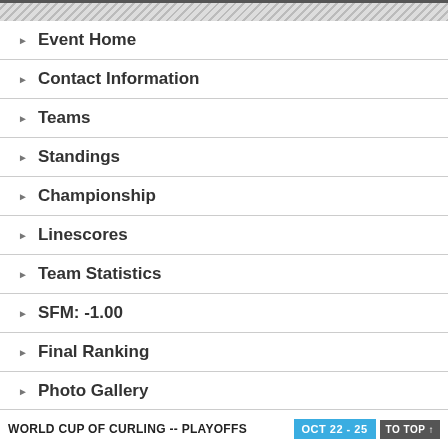Event Home
Contact Information
Teams
Standings
Championship
Linescores
Team Statistics
SFM: -1.00
Final Ranking
Photo Gallery
Head To Head
WORLD CUP OF CURLING -- PLAYOFFS  OCT 22 - 25  TO TOP